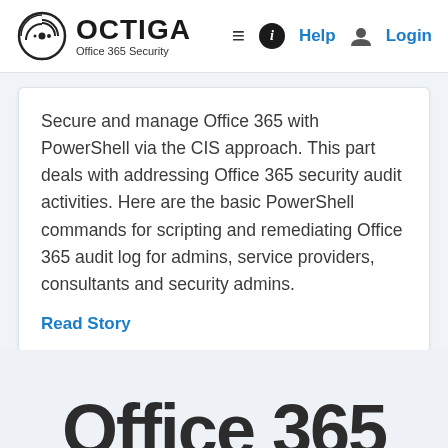OCTIGA Office 365 Security — Help Login
Secure and manage Office 365 with PowerShell via the CIS approach. This part deals with addressing Office 365 security audit activities. Here are the basic PowerShell commands for scripting and remediating Office 365 audit log for admins, service providers, consultants and security admins.
Read Story
[Figure (other): Partial text showing 'Office 365' in large bold dark letters at the bottom of the page, cut off]